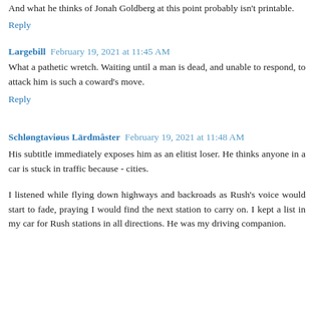And what he thinks of Jonah Goldberg at this point probably isn't printable.
Reply
Largebill February 19, 2021 at 11:45 AM
What a pathetic wretch. Waiting until a man is dead, and unable to respond, to attack him is such a coward's move.
Reply
Schløngtaviøus Lärdmâster February 19, 2021 at 11:48 AM
His subtitle immediately exposes him as an elitist loser. He thinks anyone in a car is stuck in traffic because - cities.
I listened while flying down highways and backroads as Rush's voice would start to fade, praying I would find the next station to carry on. I kept a list in my car for Rush stations in all directions. He was my driving companion.